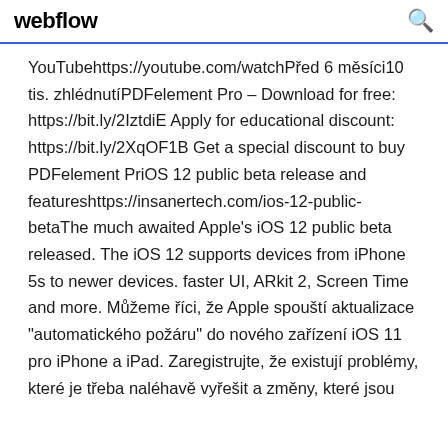webflow
YouTubehttps://youtube.com/watchPřed 6 měsíci10 tis. zhlédnutíPDFelement Pro – Download for free: https://bit.ly/2IztdiE Apply for educational discount: https://bit.ly/2XqOF1B Get a special discount to buy PDFelement PriOS 12 public beta release and featureshttps://insanertech.com/ios-12-public-betaThe much awaited Apple's iOS 12 public beta released. The iOS 12 supports devices from iPhone 5s to newer devices. faster UI, ARkit 2, Screen Time and more. Můžeme říci, že Apple spouští aktualizace "automatického požáru" do nového zařízení iOS 11 pro iPhone a iPad. Zaregistrujte, že existují problémy, které je třeba naléhavě vyřešit a změny, které jsou